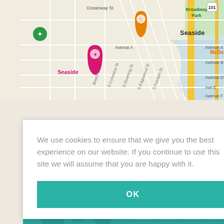[Figure (map): Google Maps showing Seaside area with street labels: Oceanway St, Avenue A, Avenue B, Avenue D, Ave E, Avenue F, Beach Dr, S Columbia St, S Downing St, S Edgewood St, S Franklin St. Markers for Seaside (pink), McDonald's (orange), Safeway (blue), and other locations. Highway 101 visible. Broadway Park labeled top right.]
D DINING
We use cookies to ensure that we give you the best experience on our website. If you continue to use this site we will assume that you are happy with it.
[Figure (photo): Teal-tinted photo of people dining indoors, partially visible at bottom of page.]